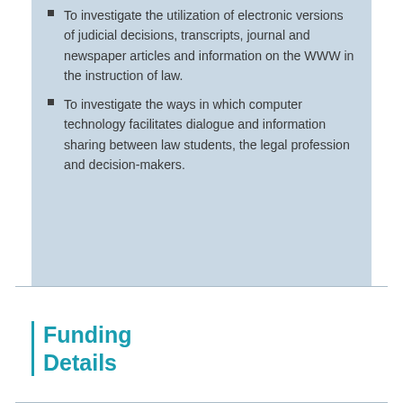To investigate the utilization of electronic versions of judicial decisions, transcripts, journal and newspaper articles and information on the WWW in the instruction of law.
To investigate the ways in which computer technology facilitates dialogue and information sharing between law students, the legal profession and decision-makers.
Funding Details